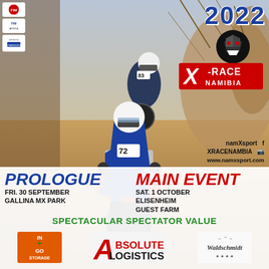[Figure (photo): Two motocross riders on dirt bikes racing on a trail, dusty autumn terrain with dry brush in background. Rider #72 in front, rider #83 behind.]
2022
[Figure (logo): X-Race Namibia logo with stylized beast head and red/white/black design]
[Figure (logo): Sponsor logos on left: FIM, FIM Africa, Sports Commission]
namXsport | XRACENAMBIA | www.namxsport.com
PROLOGUE
FRI. 30 SEPTEMBER
GALLINA MX PARK
MAIN EVENT
SAT. 1 OCTOBER
ELISENHEIM
GUEST FARM
SPECTACULAR SPECTATOR VALUE
[Figure (logo): In+Go Storage sponsor logo with orange background]
[Figure (logo): Absolute Logistics sponsor logo in red and black]
[Figure (logo): Waldschmidt sponsor logo in serif font]